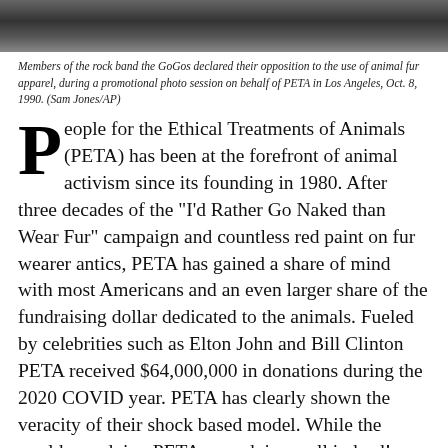[Figure (photo): Top portion of a black and white photo showing members of the rock band the GoGos]
Members of the rock band the GoGos declared their opposition to the use of animal fur apparel, during a promotional photo session on behalf of PETA in Los Angeles, Oct. 8, 1990. (Sam Jones/AP)
People for the Ethical Treatments of Animals (PETA) has been at the forefront of animal activism since its founding in 1980. After three decades of the "I'd Rather Go Naked than Wear Fur" campaign and countless red paint on fur wearer antics, PETA has gained a share of mind with most Americans and an even larger share of the fundraising dollar dedicated to the animals. Fueled by celebrities such as Elton John and Bill Clinton PETA received $64,000,000 in donations during the 2020 COVID year. PETA has clearly shown the veracity of their shock based model. While the world was dying PETA, was doing well indeed!
But draw back the curtains on the glitz, the money, and one finds a questionable model with atypical standards at play. While the organization is all about